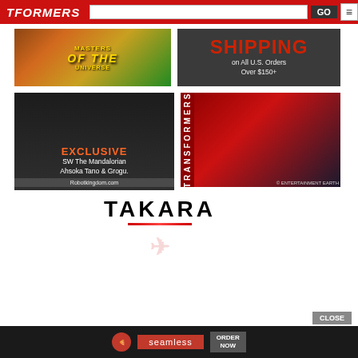TFORMERS — navigation bar with search and menu
[Figure (illustration): Masters of the Universe advertisement banner with colorful fantasy characters and golden/green gradient background]
[Figure (illustration): SHIPPING on All U.S. Orders Over $150+ advertisement banner with dark background and red text]
[Figure (illustration): EXCLUSIVE SW The Mandalorian Ahsoka Tano & Grogu - Robotkingdom.com advertisement showing hooded figure holding baby Yoda]
[Figure (illustration): Transformers Entertainment Earth advertisement with multiple robot figures on red/dark background]
[Figure (illustration): TAKARA advertisement showing Starscream jet transformer toy on white background]
[Figure (illustration): Seamless food delivery advertisement with pizza slice and ORDER NOW button]